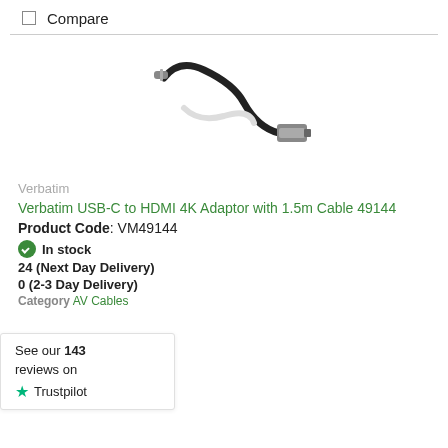Compare
[Figure (photo): USB-C to HDMI cable with metallic connector on a white background]
Verbatim
Verbatim USB-C to HDMI 4K Adaptor with 1.5m Cable 49144
Product Code: VM49144
In stock
24 (Next Day Delivery)
0 (2-3 Day Delivery)
Category AV Cables
See our 143 reviews on Trustpilot